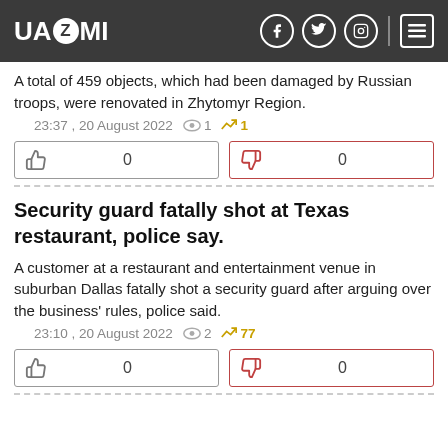UAZMI
A total of 459 objects, which had been damaged by Russian troops, were renovated in Zhytomyr Region.
23:37 , 20 August 2022  👁 1  📈 1
👍 0  👎 0
Security guard fatally shot at Texas restaurant, police say.
A customer at a restaurant and entertainment venue in suburban Dallas fatally shot a security guard after arguing over the business' rules, police said.
23:10 , 20 August 2022  👁 2  📈 77
👍 0  👎 0